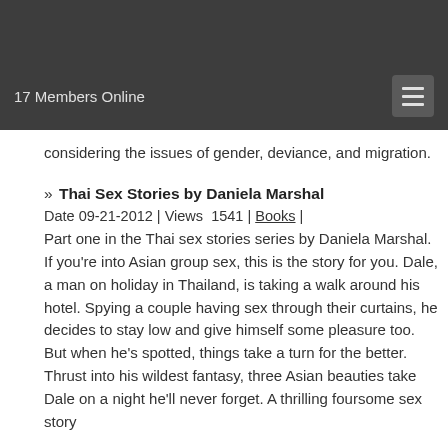17 Members Online
considering the issues of gender, deviance, and migration.
» Thai Sex Stories by Daniela Marshal
Date 09-21-2012 | Views 1541 | Books |
Part one in the Thai sex stories series by Daniela Marshal. If you're into Asian group sex, this is the story for you. Dale, a man on holiday in Thailand, is taking a walk around his hotel. Spying a couple having sex through their curtains, he decides to stay low and give himself some pleasure too. But when he's spotted, things take a turn for the better. Thrust into his wildest fantasy, three Asian beauties take Dale on a night he'll never forget. A thrilling foursome sex story